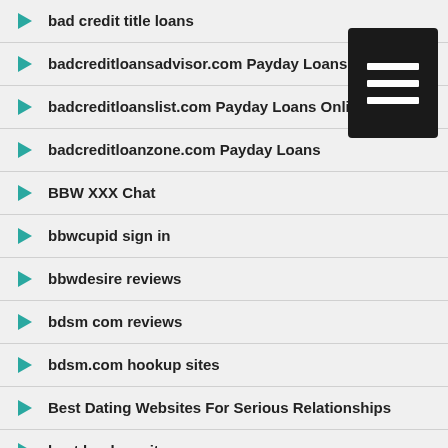bad credit title loans
badcreditloansadvisor.com Payday Loans
badcreditloanslist.com Payday Loans Online
badcreditloanzone.com Payday Loans
BBW XXX Chat
bbwcupid sign in
bbwdesire reviews
bdsm com reviews
bdsm.com hookup sites
Best Dating Websites For Serious Relationships
best hookup sites
Best Online Dating Site Free